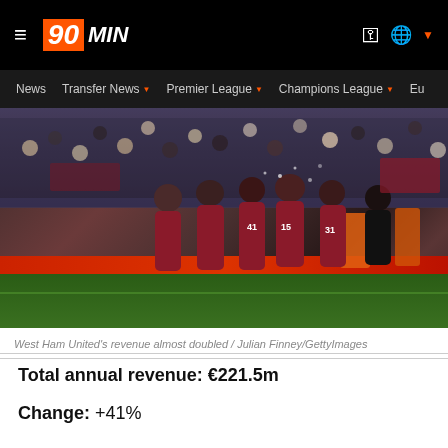90MIN — navigation header with News, Transfer News, Premier League, Champions League, Eu...
[Figure (photo): West Ham United players celebrating on the pitch, wearing maroon/claret kits with numbers 41, 15, 31 visible, crowd in background]
West Ham United's revenue almost doubled / Julian Finney/GettyImages
Total annual revenue: €221.5m
Change: +41%